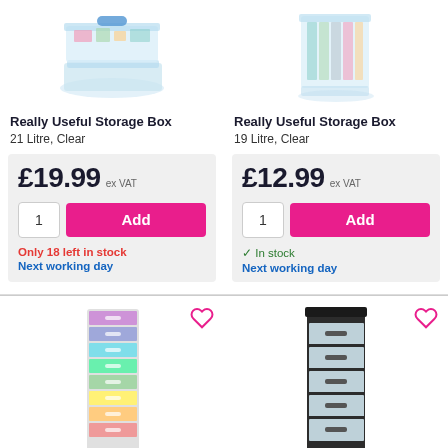[Figure (photo): Really Useful Storage Box 21 Litre Clear product image]
[Figure (photo): Really Useful Storage Box 19 Litre Clear product image]
Really Useful Storage Box
21 Litre, Clear
£19.99 ex VAT
1 Add
Only 18 left in stock
Next working day
Really Useful Storage Box
19 Litre, Clear
£12.99 ex VAT
1 Add
✓ In stock
Next working day
[Figure (photo): Really Useful Storage Towers 8 x 7 Litre Drawers Multicoloured product image]
[Figure (photo): Really Useful Storage Towers 42 Litre Black & Clear product image]
Really Useful Storage Towers
8 x 7 Litre Drawers, Multicoloured
Really Useful Storage Towers
42 Litre, Black & Clear